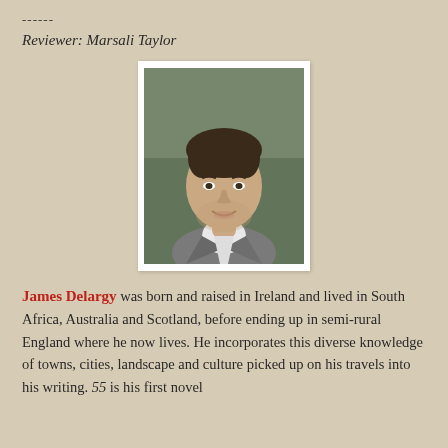------
Reviewer: Marsali Taylor
[Figure (photo): Portrait photo of James Delargy, a man with dark hair wearing a light shirt and grey blazer, smiling, shown from shoulders up against a blurred outdoor background, displayed in a white frame.]
James Delargy was born and raised in Ireland and lived in South Africa, Australia and Scotland, before ending up in semi-rural England where he now lives. He incorporates this diverse knowledge of towns, cities, landscape and culture picked up on his travels into his writing. 55 is his first novel